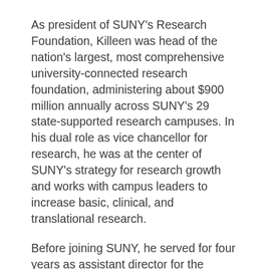As president of SUNY's Research Foundation, Killeen was head of the nation's largest, most comprehensive university-connected research foundation, administering about $900 million annually across SUNY's 29 state-supported research campuses. In his dual role as vice chancellor for research, he was at the center of SUNY's strategy for research growth and works with campus leaders to increase basic, clinical, and translational research.
Before joining SUNY, he served for four years as assistant director for the geosciences at the National Science Foundation. He also has served as Lyall Research Professor at the University of Colorado, as director and senior scientist for the